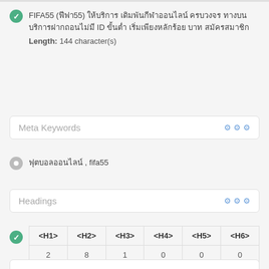FIFA55 (ฟีฟา55) ให้บริการ เดิมพันกีฬาออนไลน์ ครบวงจร ทางบน บริการฝากถอนไม่มี ID ขั้นต่ำ เริ่มเพียงหลักร้อย บาท สมัครสมาชิก Length: 144 character(s)
Meta Keywords
ฟุตบอลออนไลน์ , fifa55
Headings
| <H1> | <H2> | <H3> | <H4> | <H5> | <H6> |
| --- | --- | --- | --- | --- | --- |
| 2 | 8 | 1 | 0 | 0 | 0 |